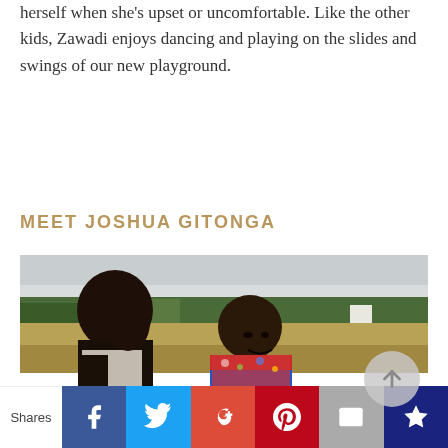herself when she's upset or uncomfortable. Like the other kids, Zawadi enjoys dancing and playing on the slides and swings of our new playground.
MEET JOSHUA GITONGA
[Figure (photo): An adult holding a baby or young toddler outdoors, with trees and a field visible in the background. Both individuals appear to be of African descent. The child is wearing a colorful blue, red, and patterned sweater.]
Shares | Facebook | Twitter | Google+ | Pinterest | Email | Crown